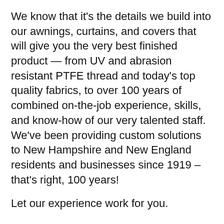We know that it's the details we build into our awnings, curtains, and covers that will give you the very best finished product — from UV and abrasion resistant PTFE thread and today's top quality fabrics, to over 100 years of combined on-the-job experience, skills, and know-how of our very talented staff. We've been providing custom solutions to New Hampshire and New England residents and businesses since 1919 – that's right, 100 years!
Let our experience work for you.
New Hampshire Made - American Made We fabricate your awning from frame to cover in our own facility in Bow, New Hampshire.